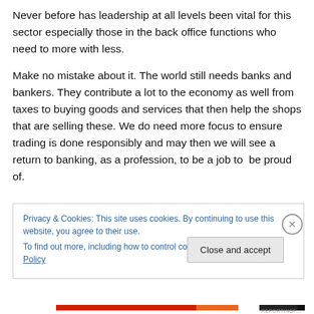Never before has leadership at all levels been vital for this sector especially those in the back office functions who need to more with less.
Make no mistake about it. The world still needs banks and bankers. They contribute a lot to the economy as well from taxes to buying goods and services that then help the shops that are selling these. We do need more focus to ensure trading is done responsibly and may then we will see a return to banking, as a profession, to be a job to  be proud of.
Privacy & Cookies: This site uses cookies. By continuing to use this website, you agree to their use.
To find out more, including how to control cookies, see here: Cookie Policy
Close and accept